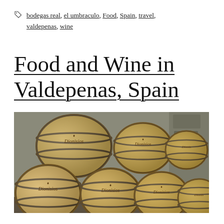🏷 bodegas real, el umbraculo, Food, Spain, travel, valdepenas, wine
Food and Wine in Valdepenas, Spain
[Figure (photo): Rows of oak wine barrels stacked in a wine cellar, each branded with 'Dionisios' logo, stone wall visible in background]